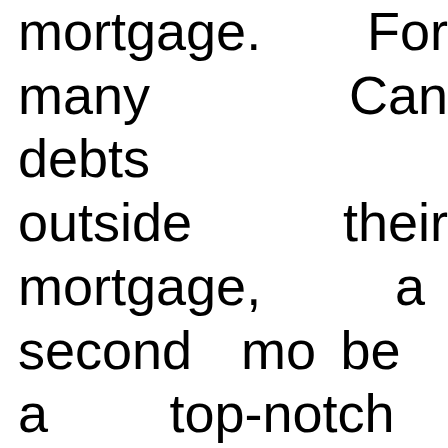mortgage. For many Can debts outside their mortgage, a second mo be a top-notch debt strategy. A majority of carry some consumer d loan, say. . .or a loan ta renovations or univer education.